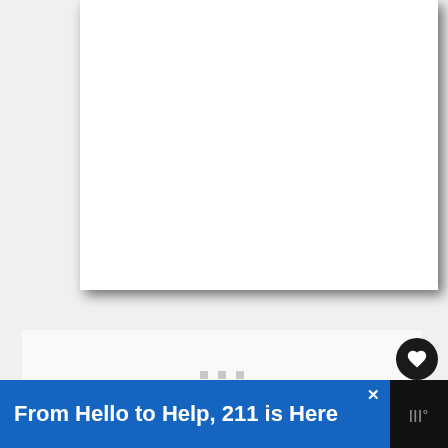[Figure (other): White document/card area with drop shadow, partially cropped at top]
[Figure (other): Loading area with three small gray square dots indicating content loading]
[Figure (other): Black circular like/heart button on the right side]
2
[Figure (other): White circular share button with share icon on the right side]
From Hello to Help, 211 is Here